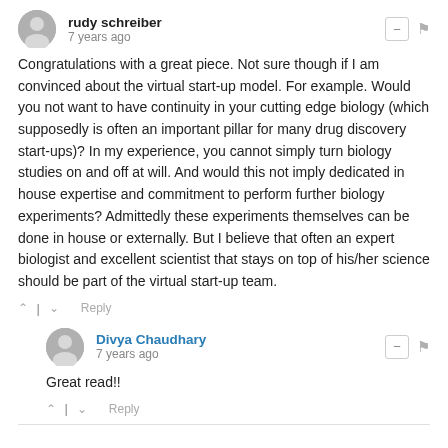[Figure (other): User avatar circle for rudy schreiber]
rudy schreiber
7 years ago
Congratulations with a great piece. Not sure though if I am convinced about the virtual start-up model. For example. Would you not want to have continuity in your cutting edge biology (which supposedly is often an important pillar for many drug discovery start-ups)? In my experience, you cannot simply turn biology studies on and off at will. And would this not imply dedicated in house expertise and commitment to perform further biology experiments? Admittedly these experiments themselves can be done in house or externally. But I believe that often an expert biologist and excellent scientist that stays on top of his/her science should be part of the virtual start-up team.
^ | v  Reply
[Figure (other): User avatar circle for Divya Chaudhary]
Divya Chaudhary
7 years ago
Great read!!
^ | v  Reply